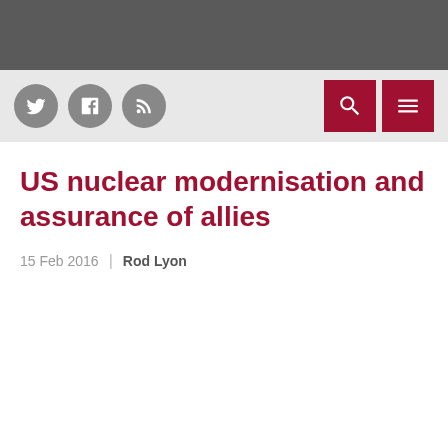[Figure (screenshot): Dark grey top navigation bar]
[Figure (screenshot): Light grey navigation bar with social media icons (Twitter, Facebook, RSS) on the left and a red search button and red menu button on the right]
US nuclear modernisation and assurance of allies
15 Feb 2016  |  Rod Lyon